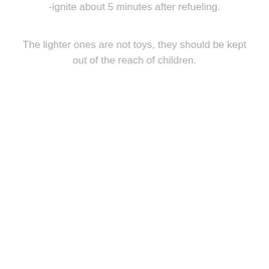-ignite about 5 minutes after refueling.
The lighter ones are not toys, they should be kept out of the reach of children.